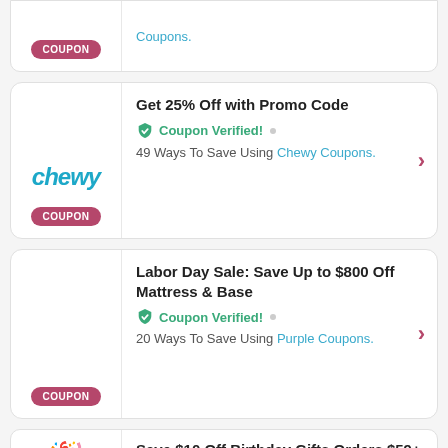Coupons.
Get 25% Off with Promo Code
Coupon Verified! • 49 Ways To Save Using Chewy Coupons.
Labor Day Sale: Save Up to $800 Off Mattress & Base
Coupon Verified! • 20 Ways To Save Using Purple Coupons.
Save $10 Off Birthday Gifts Orders $59+ with Promo